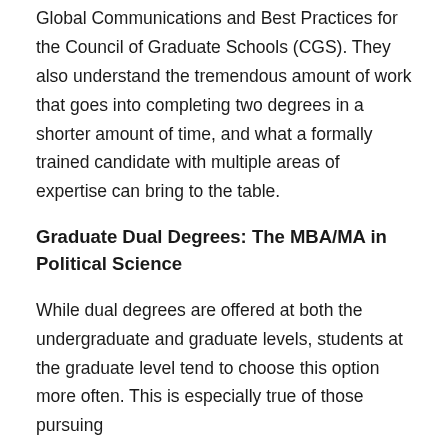Global Communications and Best Practices for the Council of Graduate Schools (CGS). They also understand the tremendous amount of work that goes into completing two degrees in a shorter amount of time, and what a formally trained candidate with multiple areas of expertise can bring to the table.
Graduate Dual Degrees: The MBA/MA in Political Science
While dual degrees are offered at both the undergraduate and graduate levels, students at the graduate level tend to choose this option more often. This is especially true of those pursuing